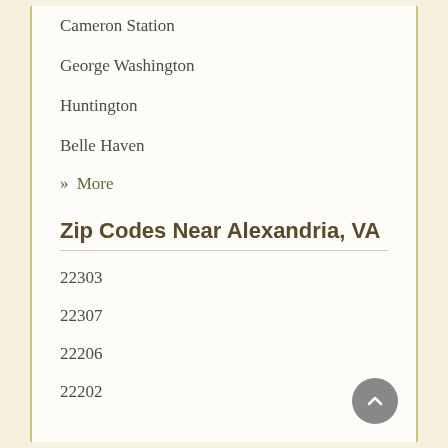Cameron Station
George Washington
Huntington
Belle Haven
» More
Zip Codes Near Alexandria, VA
22303
22307
22206
22202